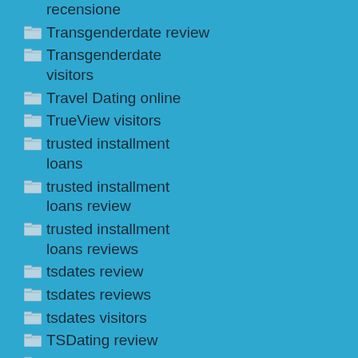recensione
Transgenderdate review
Transgenderdate visitors
Travel Dating online
TrueView visitors
trusted installment loans
trusted installment loans review
trusted installment loans reviews
tsdates review
tsdates reviews
tsdates visitors
TSDating review
TSDating visitors
turkmenistan-chat-